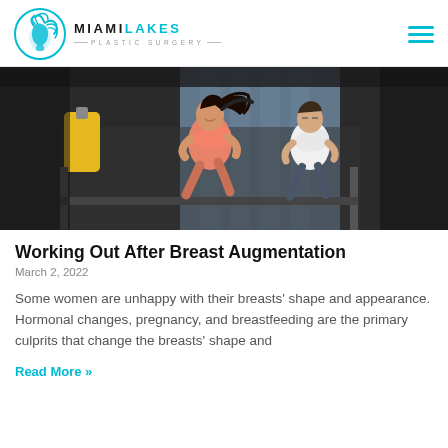MIAMI LAKES PLASTIC SURGERY
[Figure (photo): Two people running on treadmills in a gym. A woman in a pink top with a ponytail is in the foreground smiling, and a man in a white shirt is behind her. A yellow punching bag is visible on the left.]
Working Out After Breast Augmentation
March 2, 2022
Some women are unhappy with their breasts' shape and appearance. Hormonal changes, pregnancy, and breastfeeding are the primary culprits that change the breasts' shape and
Read More »